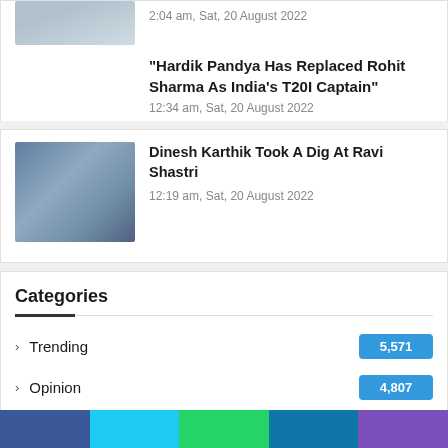2:04 am, Sat, 20 August 2022
"Hardik Pandya Has Replaced Rohit Sharma As India's T20I Captain"
12:34 am, Sat, 20 August 2022
[Figure (photo): Photo of two cricket personalities]
Dinesh Karthik Took A Dig At Ravi Shastri
12:19 am, Sat, 20 August 2022
Categories
Trending 5,571
Opinion 4,807
IPL 3,214